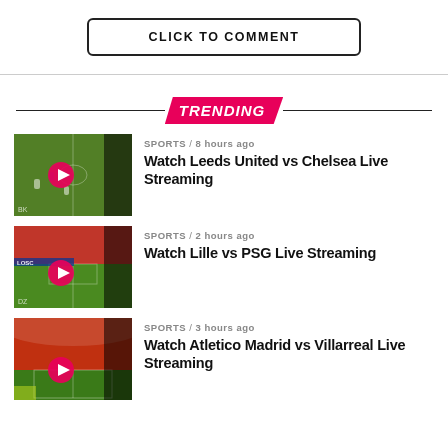CLICK TO COMMENT
TRENDING
[Figure (screenshot): Thumbnail of football match (Leeds United vs Chelsea video)]
SPORTS / 8 hours ago
Watch Leeds United vs Chelsea Live Streaming
[Figure (screenshot): Thumbnail of football match (Lille vs PSG video)]
SPORTS / 2 hours ago
Watch Lille vs PSG Live Streaming
[Figure (screenshot): Thumbnail of football stadium (Atletico Madrid vs Villarreal video)]
SPORTS / 3 hours ago
Watch Atletico Madrid vs Villarreal Live Streaming